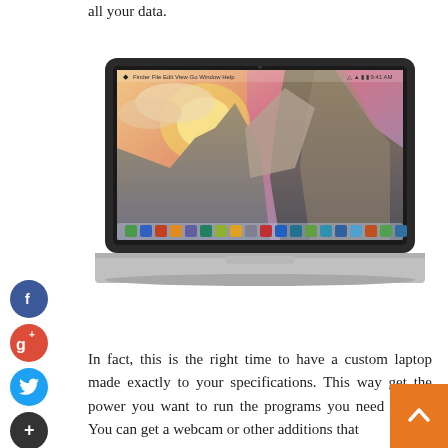all your data.
[Figure (photo): A MacBook Pro laptop displaying OS X Yosemite desktop wallpaper showing El Capitan rock formation.]
In fact, this is the right time to have a custom laptop made exactly to your specifications. This way get the power you want to run the programs you need to run. You can get a webcam or other additions that